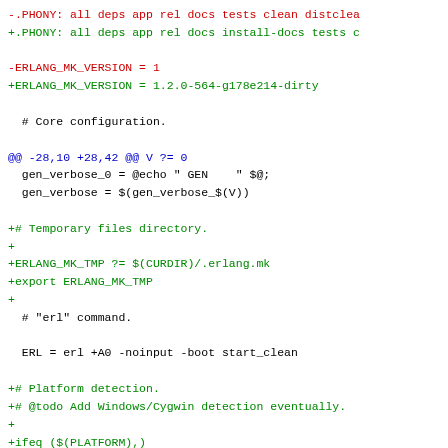[Figure (screenshot): Diff output of a Makefile/erlang.mk showing removed and added lines. Red lines start with '-', green lines start with '+', blue lines are hunk headers, black lines are context.]